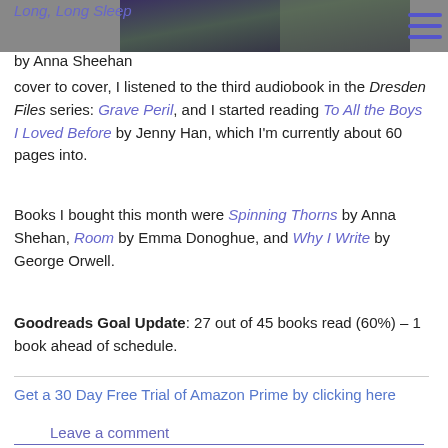[Figure (photo): Partial book cover image in upper right area, dark purple/green tones]
Long, Long Sleep
by Anna Sheehan
cover to cover, I listened to the third audiobook in the Dresden Files series: Grave Peril, and I started reading To All the Boys I Loved Before by Jenny Han, which I'm currently about 60 pages into.
Books I bought this month were Spinning Thorns by Anna Shehan, Room by Emma Donoghue, and Why I Write by George Orwell.
Goodreads Goal Update: 27 out of 45 books read (60%) – 1 book ahead of schedule.
Get a 30 Day Free Trial of Amazon Prime by clicking here
Leave a comment